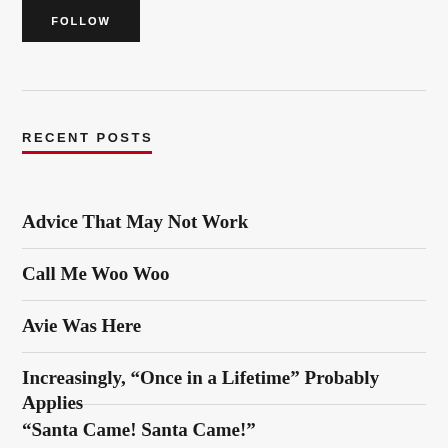[Figure (other): Black FOLLOW button]
RECENT POSTS
Advice That May Not Work
Call Me Woo Woo
Avie Was Here
Increasingly, “Once in a Lifetime” Probably Applies
“Santa Came! Santa Came!”